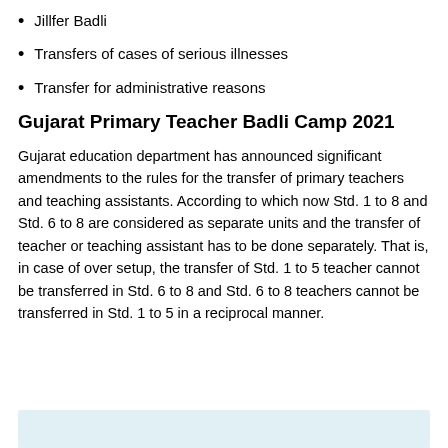Jillfer Badli
Transfers of cases of serious illnesses
Transfer for administrative reasons
Gujarat Primary Teacher Badli Camp 2021
Gujarat education department has announced significant amendments to the rules for the transfer of primary teachers and teaching assistants. According to which now Std. 1 to 8 and Std. 6 to 8 are considered as separate units and the transfer of teacher or teaching assistant has to be done separately. That is, in case of over setup, the transfer of Std. 1 to 5 teacher cannot be transferred in Std. 6 to 8 and Std. 6 to 8 teachers cannot be transferred in Std. 1 to 5 in a reciprocal manner.